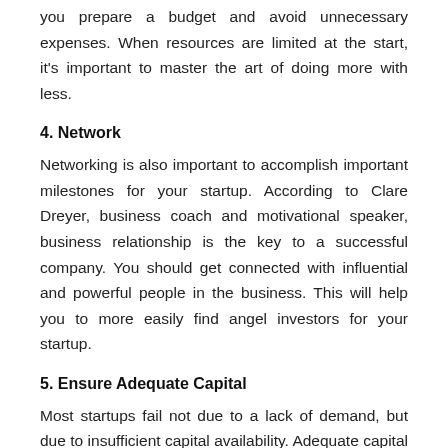you prepare a budget and avoid unnecessary expenses. When resources are limited at the start, it's important to master the art of doing more with less.
4. Network
Networking is also important to accomplish important milestones for your startup. According to Clare Dreyer, business coach and motivational speaker, business relationship is the key to a successful company. You should get connected with influential and powerful people in the business. This will help you to more easily find angel investors for your startup.
5. Ensure Adequate Capital
Most startups fail not due to a lack of demand, but due to insufficient capital availability. Adequate capital is essential for smooth running of the business. You need to know the platforms to raise funds for your startup. Platforms such as Crowdcube, Crowdfunder